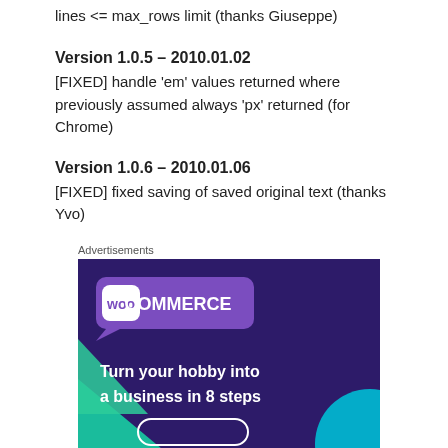lines <= max_rows limit (thanks Giuseppe)
Version 1.0.5 – 2010.01.02
[FIXED] handle 'em' values returned where previously assumed always 'px' returned (for Chrome)
Version 1.0.6 – 2010.01.06
[FIXED] fixed saving of saved original text (thanks Yvo)
Advertisements
[Figure (illustration): WooCommerce advertisement banner: purple background with teal and cyan decorative shapes, WooCommerce logo with speech bubble icon, text: Turn your hobby into a business in 8 steps]